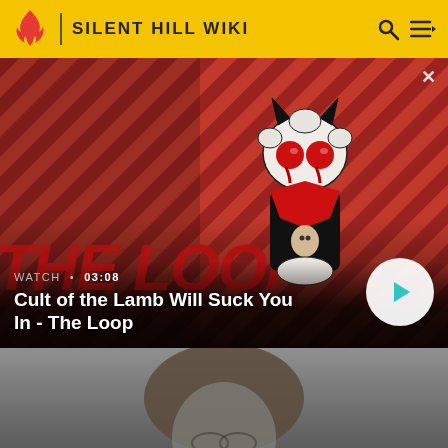SILENT HILL WIKI
[Figure (screenshot): Video thumbnail banner with diagonal red and dark stripe background, featuring a cartoon lamb character with devil horns and red eyes in a dark outfit, holding a small figure. Text overlay reads WATCH 03:08 and video title. A play button is visible on the right. Close X button in top right.]
Cult of the Lamb Will Suck You In - The Loop
[Figure (photo): Grayscale close-up photograph of a man's face from a video game (Silent Hill 2 remake), showing James Sunderland with brown hair, looking downward with a somber expression.]